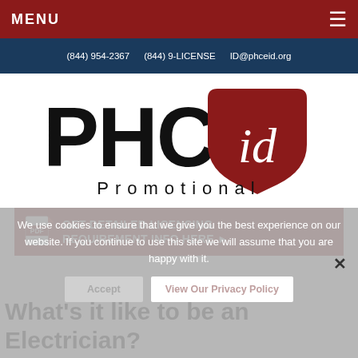MENU  ☰
(844) 954-2367   (844) 9-LICENSE   ID@phceid.org
[Figure (logo): PHCEid Promotional logo — large black bold text 'PHCE' with a red shield bearing white 'id' text, and spaced-letter 'Promotional' below]
[Figure (infographic): Red banner CTA button with PDF icon: GET DETAILED LICENSING REQUIREMENT INFO HERE]
We use cookies to ensure that we give you the best experience on our website. If you continue to use this site we will assume that you are happy with it.
Accept   View Our Privacy Policy
What's it like to be an Electrician?